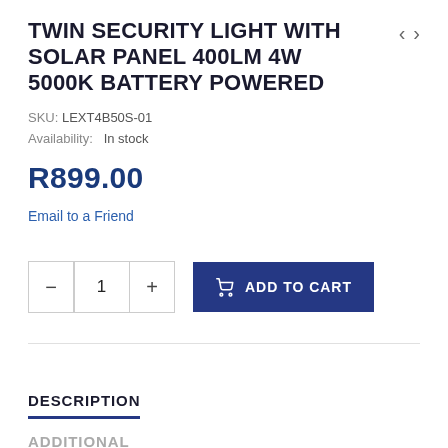TWIN SECURITY LIGHT WITH SOLAR PANEL 400LM 4W 5000K BATTERY POWERED
SKU: LEXT4B50S-01
Availability: In stock
R899.00
Email to a Friend
[Figure (other): Quantity selector with minus, 1, plus buttons and Add to Cart button]
DESCRIPTION
ADDITIONAL